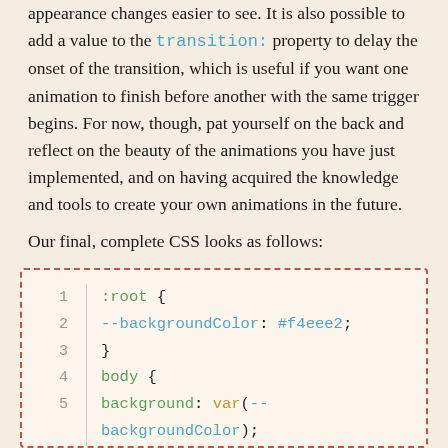appearance changes easier to see. It is also possible to add a value to the transition: property to delay the onset of the transition, which is useful if you want one animation to finish before another with the same trigger begins. For now, though, pat yourself on the back and reflect on the beauty of the animations you have just implemented, and on having acquired the knowledge and tools to create your own animations in the future.
Our final, complete CSS looks as follows:
[Figure (screenshot): Code block showing CSS with line numbers 1-9. Lines: 1: :root { 2: --backgroundColor: #f4eee2; 3: } 4: body { 5: background: var(--backgroundColor); 6: } 7: .title { 8: display: flex; 9: justify-content: center;]